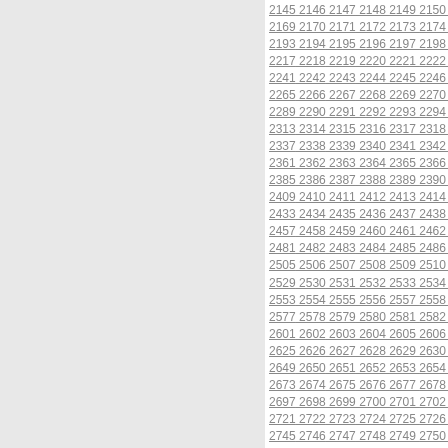[Figure (other): Gray left panel background]
2145 2146 2147 2148 2149 2150 2169 2170 2171 2172 2173 2174 2193 2194 2195 2196 2197 2198 2217 2218 2219 2220 2221 2222 2241 2242 2243 2244 2245 2246 2265 2266 2267 2268 2269 2270 2289 2290 2291 2292 2293 2294 2313 2314 2315 2316 2317 2318 2337 2338 2339 2340 2341 2342 2361 2362 2363 2364 2365 2366 2385 2386 2387 2388 2389 2390 2409 2410 2411 2412 2413 2414 2433 2434 2435 2436 2437 2438 2457 2458 2459 2460 2461 2462 2481 2482 2483 2484 2485 2486 2505 2506 2507 2508 2509 2510 2529 2530 2531 2532 2533 2534 2553 2554 2555 2556 2557 2558 2577 2578 2579 2580 2581 2582 2601 2602 2603 2604 2605 2606 2625 2626 2627 2628 2629 2630 2649 2650 2651 2652 2653 2654 2673 2674 2675 2676 2677 2678 2697 2698 2699 2700 2701 2702 2721 2722 2723 2724 2725 2726 2745 2746 2747 2748 2749 2750 2769 2770 2771 2772 2773 2774 2793 2794 2795 2796 2797 2798 2817 2818 2819 2820 2821 2822
ST60117065601  Stihl and Viking Sp
ST60117068400  Stihl and Viking Sp